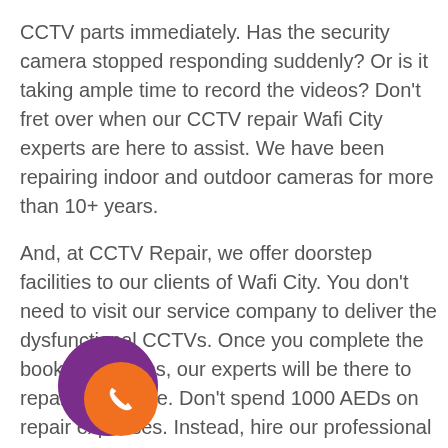CCTV parts immediately. Has the security camera stopped responding suddenly? Or is it taking ample time to record the videos? Don't fret over when our CCTV repair Wafi City experts are here to assist. We have been repairing indoor and outdoor cameras for more than 10+ years.
And, at CCTV Repair, we offer doorstep facilities to our clients of Wafi City. You don't need to visit our service company to deliver the dysfunctional CCTVs. Once you complete the booking process, our experts will be there to repair the device. Don't spend 1000 AEDs on repair expenses. Instead, hire our professional experts and fix the camera at an affordable price.
Here is the list of the CCTV issues our experts are known for resolving:
Configuration issues
Horizontal lines on the screen
Black or white spots on the monitor